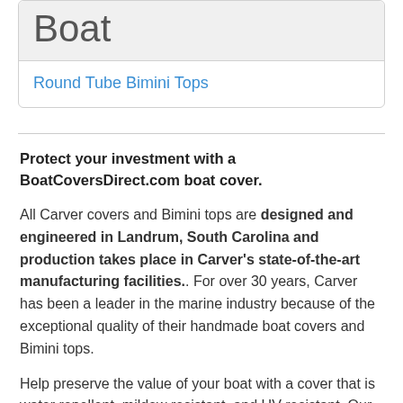Boat
Round Tube Bimini Tops
Protect your investment with a BoatCoversDirect.com boat cover.
All Carver covers and Bimini tops are designed and engineered in Landrum, South Carolina and production takes place in Carver's state-of-the-art manufacturing facilities.. For over 30 years, Carver has been a leader in the marine industry because of the exceptional quality of their handmade boat covers and Bimini tops.
Help preserve the value of your boat with a cover that is water repellent, mildew resistant, and UV resistant. Our boat covers are excellent for storage, either on dry land or in the water. All of our Carver boat covers (except T-Top